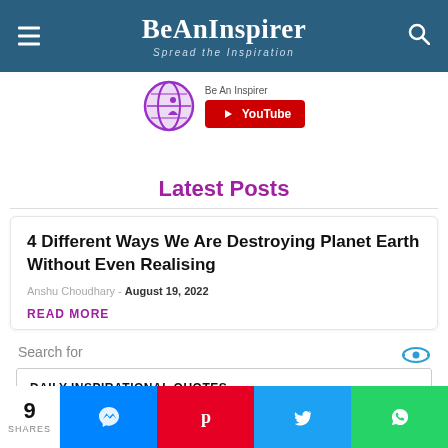BeAnInspirer — Spread the Inspiration
[Figure (logo): BeAnInspirer YouTube channel logo with globe icon and YouTube subscribe button]
Latest Posts
4 Different Ways We Are Destroying Planet Earth Without Even Realising
Anshu Choudhary - August 19, 2022
READ MORE
Search for
DAILY INSPIRATIONAL QUOTES →
9 SHARES